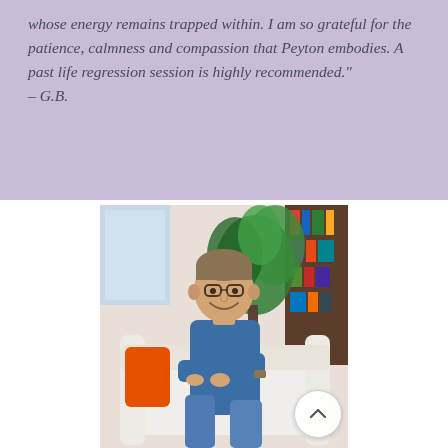whose energy remains trapped within. I am so grateful for the patience, calmness and compassion that Peyton embodies. A past life regression session is highly recommended." – G.B.
[Figure (photo): A smiling man with glasses wearing a blue denim shirt, seated on a white armchair with an orange pillow, with a large green houseplant and bookshelves in the background. A circular scroll-to-top button appears in the lower right corner.]